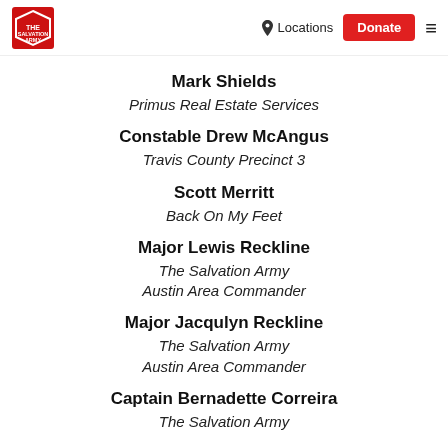The Salvation Army | Locations | Donate
Mark Shields
Primus Real Estate Services
Constable Drew McAngus
Travis County Precinct 3
Scott Merritt
Back On My Feet
Major Lewis Reckline
The Salvation Army
Austin Area Commander
Major Jacqulyn Reckline
The Salvation Army
Austin Area Commander
Captain Bernadette Correira
The Salvation Army